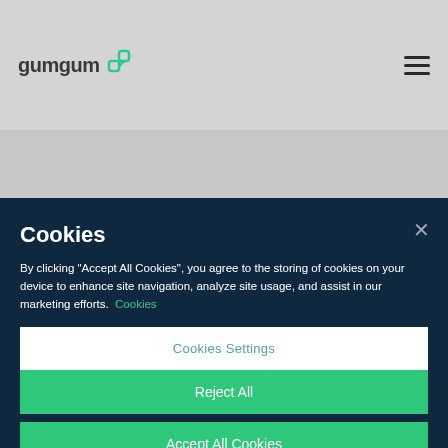gumgum
Cookies
By clicking "Accept All Cookies", you agree to the storing of cookies on your device to enhance site navigation, analyze site usage, and assist in our marketing efforts. Cookies
Cookies Settings
Reject All
Accept All Cookies